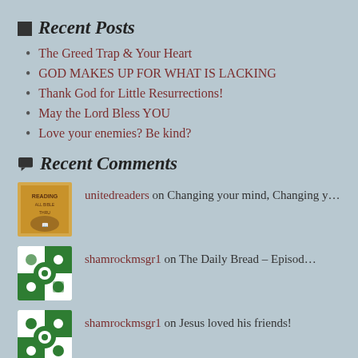Recent Posts
The Greed Trap & Your Heart
GOD MAKES UP FOR WHAT IS LACKING
Thank God for Little Resurrections!
May the Lord Bless YOU
Love your enemies? Be kind?
Recent Comments
unitedreaders on Changing your mind, Changing y…
shamrockmsgr1 on The Daily Bread – Episod…
shamrockmsgr1 on Jesus loved his friends!